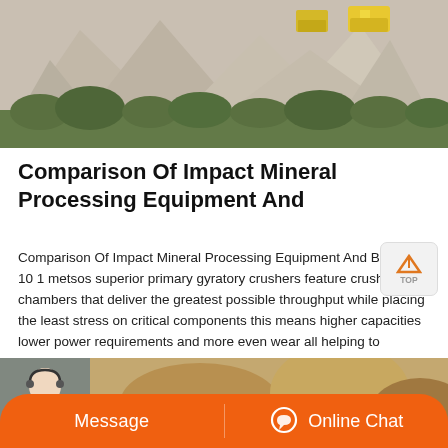[Figure (photo): Aerial or ground-level photo of a mining site with large gravel/sand heaps and heavy yellow machinery (excavators/loaders) visible, with green vegetation in the foreground]
Comparison Of Impact Mineral Processing Equipment And
Comparison Of Impact Mineral Processing Equipment And Ball Mill 10 1 metsos superior primary gyratory crushers feature crushing chambers that deliver the greatest possible throughput while placing the least stress on critical components this means higher capacities lower power requirements and more even wear all helping to decrease operating cost per ton 2 metsos mp series cone ...
[Figure (photo): Bottom portion showing a person (customer service representative with headset) on an orange banner with Message and Online Chat buttons]